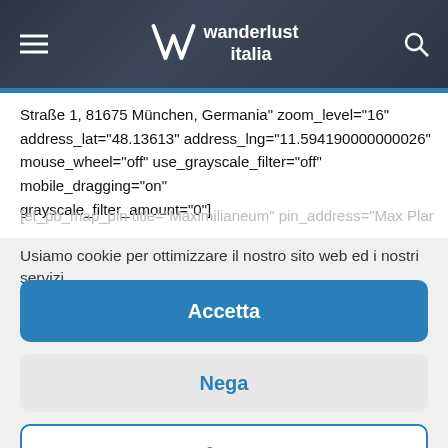wanderlust italia
Straße 1, 81675 München, Germania" zoom_level="16" address_lat="48.13613" address_lng="11.594190000000026" mouse_wheel="off" use_grayscale_filter="off" mobile_dragging="on" grayscale_filter_amount="0"]
[et_pb_map_pin title="Maximilianeum" pin_address="Max Planck
Usiamo cookie per ottimizzare il nostro sito web ed i nostri servizi.
Accetta
Nega
Preferenze